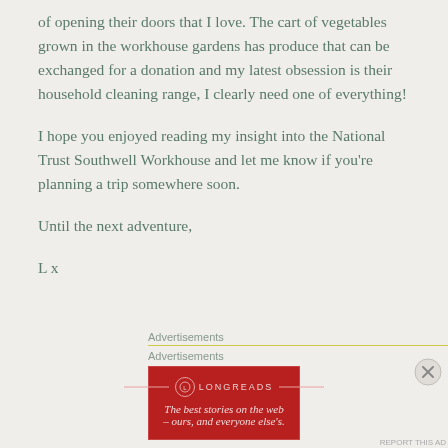of opening their doors that I love. The cart of vegetables grown in the workhouse gardens has produce that can be exchanged for a donation and my latest obsession is their household cleaning range, I clearly need one of everything!
I hope you enjoyed reading my insight into the National Trust Southwell Workhouse and let me know if you're planning a trip somewhere soon.
Until the next adventure,
L x
Advertisements
Advertisements
[Figure (other): Longreads advertisement banner with red background, circular logo, and tagline 'The best stories on the web — ours, and everyone else's.']